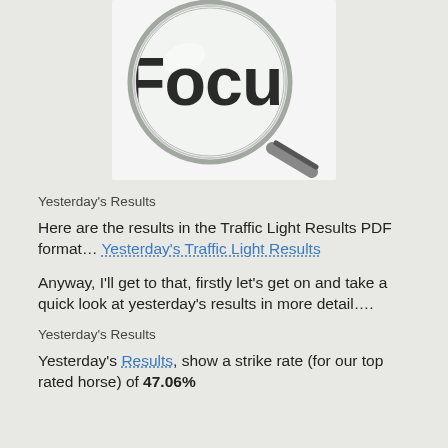[Figure (illustration): A magnifying glass over the word 'Focus' in large bold dark letters on a white background]
Yesterday's Results
Here are the results in the Traffic Light Results PDF format… Yesterday's Traffic Light Results
Anyway, I'll get to that, firstly let's get on and take a quick look at yesterday's results in more detail….
Yesterday's Results
Yesterday's Results, show a strike rate (for our top rated horse) of 47.06%